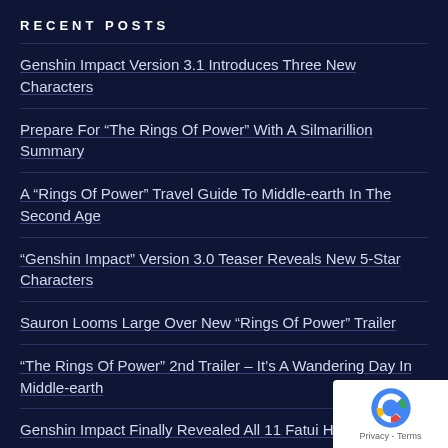RECENT POSTS
Genshin Impact Version 3.1 Introduces Three New Characters
Prepare For “The Rings Of Power” With A Silmarillion Summary
A “Rings Of Power” Travel Guide To Middle-earth In The Second Age
“Genshin Impact” Version 3.0 Teaser Reveals New 5-Star Characters
Sauron Looms Large Over New “Rings Of Power” Trailer
“The Rings Of Power” 2nd Trailer – It’s A Wandering Day In Middle-earth
Genshin Impact Finally Revealed All 11 Fatui Harbingers